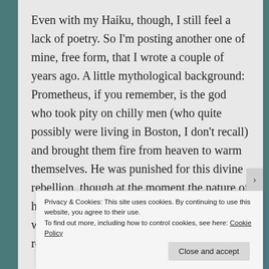Even with my Haiku, though, I still feel a lack of poetry. So I'm posting another one of mine, free form, that I wrote a couple of years ago. A little mythological background: Prometheus, if you remember, is the god who took pity on chilly men (who quite possibly were living in Boston, I don't recall) and brought them fire from heaven to warm themselves. He was punished for this divine rebellion, though at the moment the nature of his punishment escapes me. Edith Hamilton would be glad to tell you all about it, if you really want to
Privacy & Cookies: This site uses cookies. By continuing to use this website, you agree to their use.
To find out more, including how to control cookies, see here: Cookie Policy